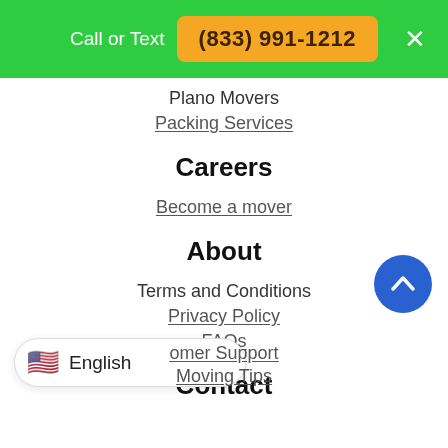Call or Text (833) 991-1212
Plano Movers
Packing Services
Careers
Become a mover
About
Terms and Conditions
Privacy Policy
FAQs
Contact
Customer Support
Moving Tips
English